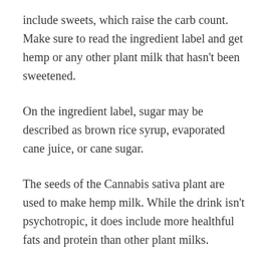include sweets, which raise the carb count. Make sure to read the ingredient label and get hemp or any other plant milk that hasn't been sweetened.
On the ingredient label, sugar may be described as brown rice syrup, evaporated cane juice, or cane sugar.
The seeds of the Cannabis sativa plant are used to make hemp milk. While the drink isn't psychotropic, it does include more healthful fats and protein than other plant milks.
Is It True That Almond Milk Can